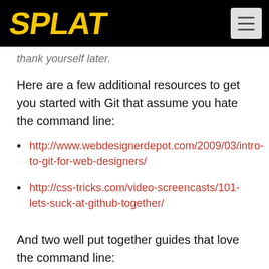SPLAT
thank yourself later.
Here are a few additional resources to get you started with Git that assume you hate the command line:
http://www.webdesignerdepot.com/2009/03/intro-to-git-for-web-designers/
http://css-tricks.com/video-screencasts/101-lets-suck-at-github-together/
And two well put together guides that love the command line:
http://www.alistapart.com/articles/get-started-with-git/